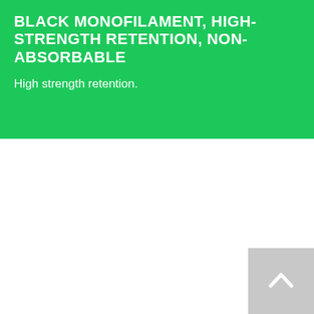BLACK MONOFILAMENT, HIGH-STRENGTH RETENTION, NON-ABSORBABLE
High strength retention.